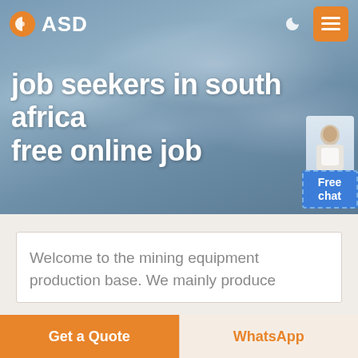[Figure (screenshot): Website hero section with cloudy sky background, ASD logo in top-left, moon and hamburger menu icons top-right]
ASD
job seekers in south africa free online job
Welcome to the mining equipment production base. We mainly produce
Get a Quote
WhatsApp